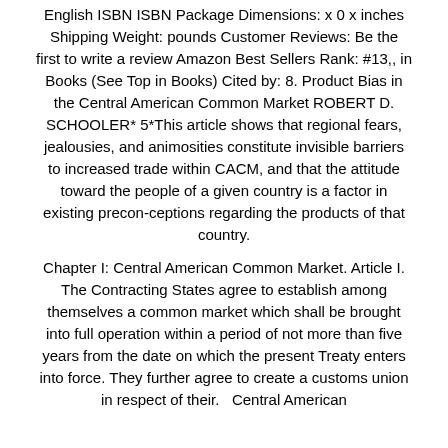English ISBN ISBN Package Dimensions: x 0 x inches Shipping Weight: pounds Customer Reviews: Be the first to write a review Amazon Best Sellers Rank: #13,, in Books (See Top in Books) Cited by: 8. Product Bias in the Central American Common Market ROBERT D. SCHOOLER* 5*This article shows that regional fears, jealousies, and animosities constitute invisible barriers to increased trade within CACM, and that the attitude toward the people of a given country is a factor in existing precon-ceptions regarding the products of that country.
Chapter I: Central American Common Market. Article I. The Contracting States agree to establish among themselves a common market which shall be brought into full operation within a period of not more than five years from the date on which the present Treaty enters into force. They further agree to create a customs union in respect of their. Central American